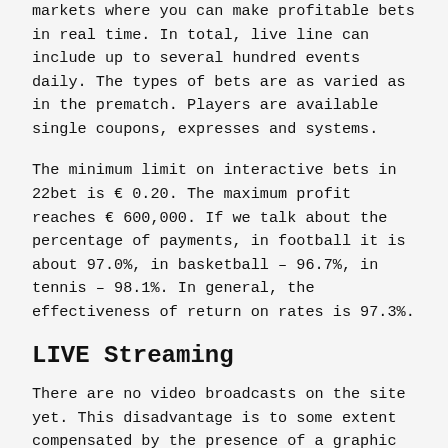markets where you can make profitable bets in real time. In total, live line can include up to several hundred events daily. The types of bets are as varied as in the prematch. Players are available single coupons, expresses and systems.
The minimum limit on interactive bets in 22bet is € 0.20. The maximum profit reaches € 600,000. If we talk about the percentage of payments, in football it is about 97.0%, in basketball – 96.7%, in tennis – 98.1%. In general, the effectiveness of return on rates is 97.3%.
LIVE Streaming
There are no video broadcasts on the site yet. This disadvantage is to some extent compensated by the presence of a graphic modulator that repeats all the actions of real players on the field. In addition, all the latest statistics are available in live events during the game, which can be viewed without prior registration.